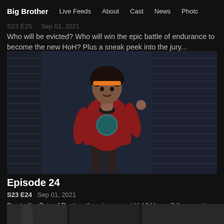Big Brother  Live Feeds  About  Cast  News  Photos
Who will be evicted? Who will win the epic battle of endurance to become the new HoH? Plus a sneak peek into the jury...
[Figure (photo): A man wearing an orange headband and red t-shirt with a squirrel graphic, standing in front of a dark slatted background, touching his ear.]
Episode 24
S23 E24   Sep 01, 2021
Due to the Coin of Destiny, there is a secret HoH! How will the secret HoH's power affect the game? And with the power of...
[Figure (photo): Partial thumbnail of another episode at the bottom of the page.]